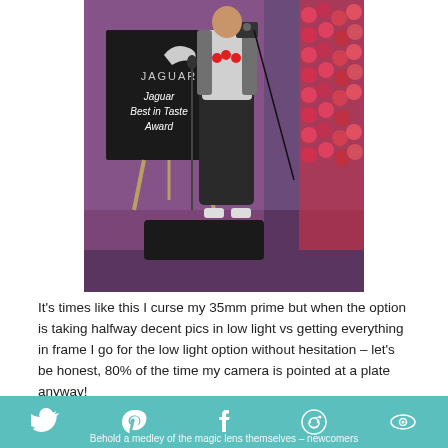[Figure (photo): A person standing on a stage next to a Jaguar 'Best in Taste Award' sign/banner. Pink/purple lighting in background, floral decorations on the right side.]
It's times like this I curse my 35mm prime but when the option is taking halfway decent pics in low light vs getting everything in frame I go for the low light option without hesitation – let's be honest, 80% of the time my camera is pointed at a plate anyway!
Behold a medley of the magic lens themselves – newcomers